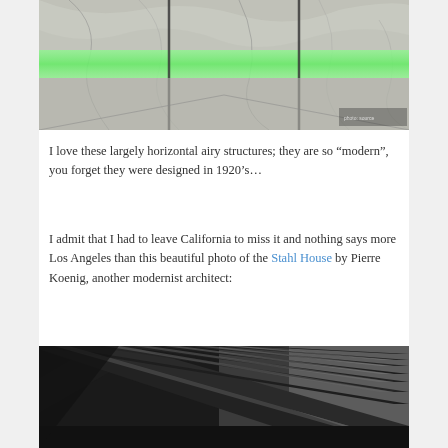[Figure (photo): Interior architectural photo showing marble walls and a horizontal green illuminated glass or acrylic panel, modernist style room]
I love these largely horizontal airy structures; they are so “modern”, you forget they were designed in 1920’s…
I admit that I had to leave California to miss it and nothing says more Los Angeles than this beautiful photo of the Stahl House by Pierre Koenig, another modernist architect:
[Figure (photo): Black and white photo looking up at modernist steel beam ceiling/roof structure with parallel diagonal beams, Stahl House by Pierre Koenig]